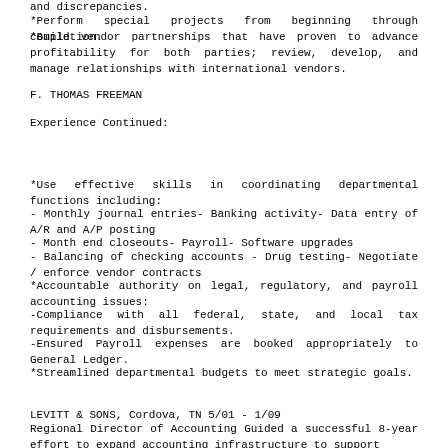and discrepancies.
*Perform special projects from beginning through completion.
*Build vendor partnerships that have proven to advance profitability for both parties; review, develop, and manage relationships with international vendors.
F. THOMAS FREEMAN
Experience Continued:
*Use effective skills in coordinating departmental functions including:
- Monthly journal entries- Banking activity- Data entry of A/R and A/P posting
- Month end closeouts- Payroll- Software upgrades
- Balancing of checking accounts - Drug testing- Negotiate / enforce vendor contracts
*Accountable authority on legal, regulatory, and payroll accounting issues:
-Compliance with all federal, state, and local tax requirements and disbursements.
-Ensured Payroll expenses are booked appropriately to General Ledger.
*Streamlined departmental budgets to meet strategic goals.
LEVITT & SONS, Cordova, TN 5/01 - 1/09
Regional Director of Accounting Guided a successful 8-year effort to expand accounting infrastructure to support